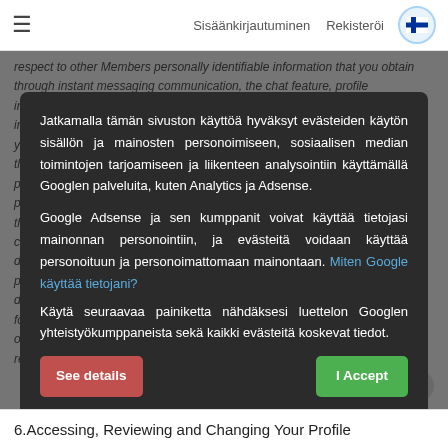Sisäänkirjautuminen   Rekisteröi
respect to other Members personally identifiable information that you obtain through instant messaging communication, the chat feature, profile information, or through any other means on the site and to use such information only for the purpose(s) for which that Member has provided it to you. You may not use another member messages, and for any other purpose that such member expressly agrees to after adequate disclosure of the purpose(s). In all cases, you must display immediately and may not record, preserve, or share with others your dealings, reviews, or between information that you have learned about another member. In addition under no circumstances, except as expressly authorized in this Section, can you disclose personally identifiable information about another Member to any third party without the written consent of that other member
Jatkamalla tämän sivuston käyttöä hyväksyt evästeiden käytön sisällön ja mainosten personoimiseen, sosiaalisen median toimintojen tarjoamiseen ja liikenteen analysointiin käyttämällä Googlen palveluita, kuten Analytics ja Adsense.
Google Adsense ja sen kumppanit voivat käyttää tietojasi mainonnan personointiin, ja evästeitä voidaan käyttää personoituun ja personoimattomaan mainontaan.
Miten Google käyttää tietojani?
Käytä seuraavaa painiketta nähdäksesi luettelon Googlen yhteistyökumppaneista sekä kaikki evästeitä koskevat tiedot.
See details
I Accept
after prior disclosure. Our members do not spam.
Therefore without limiting the foregoing, you are not allowed to add a member to your mail list (email or any other) without their express consent, in all instances adequate disclosure. To report spam, please use the process described on the
These cookies are mandatory for the operation of dating-deutsch.de.
If you do not accept them please quit this site.
You have the right to refuse cookies and leave the site or to change the parameters
6.Accessing, Reviewing and Changing Your Profile